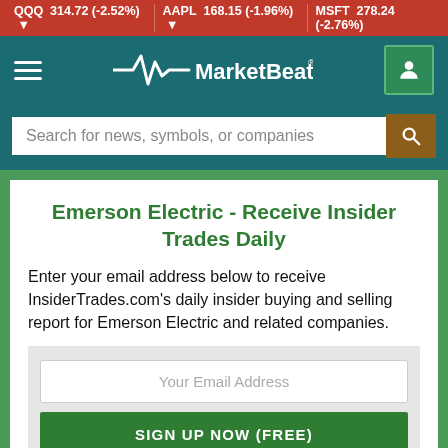QQQ 314.72 (-2.52%) ▼   AAPL 168.15 (-1.96%) ▼   MSFT 278.24 (-2.76%)
[Figure (logo): MarketBeat logo with heartbeat/pulse graphic on teal navigation bar]
Search for news, symbols, or companies
Emerson Electric - Receive Insider Trades Daily
Enter your email address below to receive InsiderTrades.com's daily insider buying and selling report for Emerson Electric and related companies.
Your Email Address
SIGN UP NOW (FREE)
or
Sign up with Google